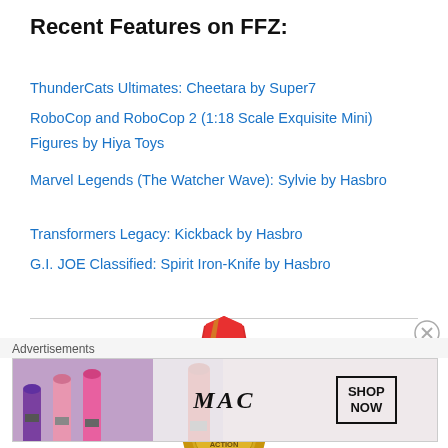Recent Features on FFZ:
ThunderCats Ultimates: Cheetara by Super7
RoboCop and RoboCop 2 (1:18 Scale Exquisite Mini) Figures by Hiya Toys
Marvel Legends (The Watcher Wave): Sylvie by Hasbro
Transformers Legacy: Kickback by Hasbro
G.I. JOE Classified: Spirit Iron-Knife by Hasbro
[Figure (illustration): A gold medal with red ribbon awarded Top 50 Action Figure]
Advertisements
[Figure (photo): MAC cosmetics advertisement showing lipsticks with SHOP NOW button]